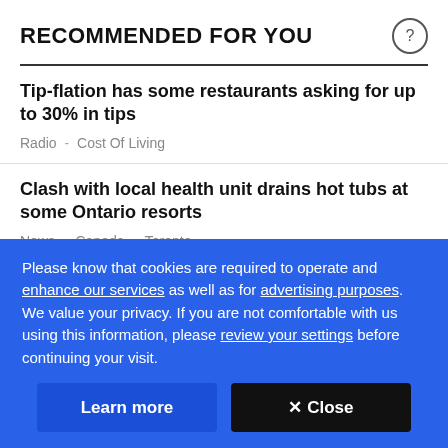RECOMMENDED FOR YOU
Tip-flation has some restaurants asking for up to 30% in tips
Radio - Cost Of Living
Clash with local health unit drains hot tubs at some Ontario resorts
News - Canada - Toronto
Please know that cookies are required to operate and enhance our services as well as for advertising purposes. We value your privacy. If you are not comfortable with us using this information, please review your settings before continuing your visit.